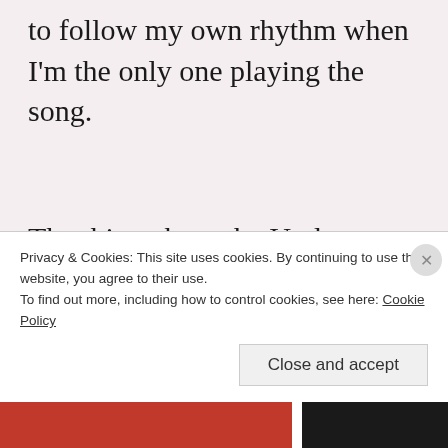to follow my own rhythm when I'm the only one playing the song.
The thing about the Underwater City is that its as much about people as it is ramps or wheels or pave-jobs. Its about patience and
Privacy & Cookies: This site uses cookies. By continuing to use this website, you agree to their use.
To find out more, including how to control cookies, see here: Cookie Policy